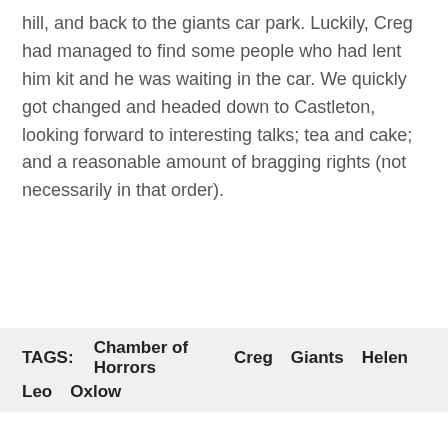hill, and back to the giants car park. Luckily, Creg had managed to find some people who had lent him kit and he was waiting in the car. We quickly got changed and headed down to Castleton, looking forward to interesting talks; tea and cake; and a reasonable amount of bragging rights (not necessarily in that order).
TAGS: Chamber of Horrors   Creg   Giants   Helen   Leo   Oxlow